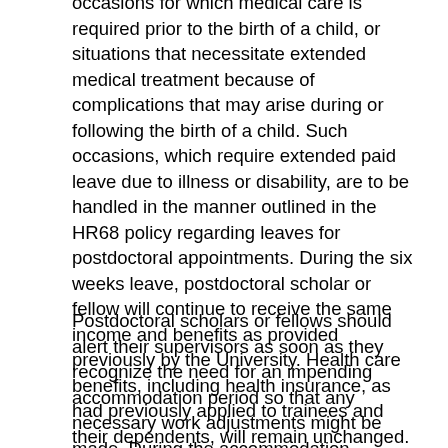occasions for which medical care is required prior to the birth of a child, or situations that necessitate extended medical treatment because of complications that may arise during or following the birth of a child. Such occasions, which require extended paid leave due to illness or disability, are to be handled in the manner outlined in the HR68 policy regarding leaves for postdoctoral appointments. During the six weeks leave, postdoctoral scholar or fellow will continue to receive the same income and benefits as provided previously by the University. Health care benefits, including health insurance, as had previously applied to trainees and their dependents, will remain unchanged.
Postdoctoral scholars or fellows should alert their supervisors as soon as they recognize the need for an impending accommodation period so that any necessary work adjustments might be made. During the accommodation, individuals may wish to maintain a certain amount of involvement with their supervisors and other professional activities at the University to